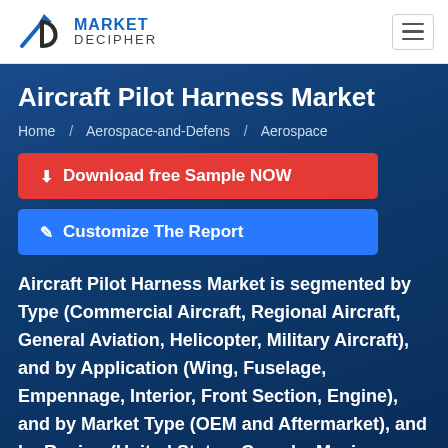Market Decipher
Aircraft Pilot Harness Market
Home / Aerospace-and-Defens / Aerospace
Download free Sample NOW
Customize The Report
Aircraft Pilot Harness Market is segmented by Type (Commercial Aircraft, Regional Aircraft, General Aviation, Helicopter, Military Aircraft), and by Application (Wing, Fuselage, Empennage, Interior, Front Section, Engine), and by Market Type (OEM and Aftermarket), and by Region (United States, Canada, Mexico, France, Germany, Italy, Spain, United Kingdom, Russia, China, India, Philippines, Malaysia, Australia, Austria, South Korea, Middle